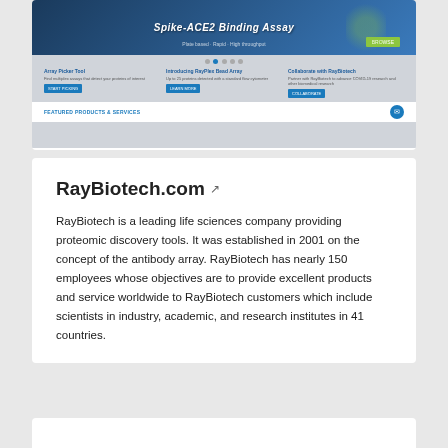[Figure (screenshot): Screenshot of RayBiotech.com website showing a Spike-ACE2 Binding Assay banner, navigation dots, three feature cards (Array Picker Tool, Introducing RayPlex Bead Array, Collaborate with RayBiotech), and a Featured Products & Services footer with chat button.]
RayBiotech.com
RayBiotech is a leading life sciences company providing proteomic discovery tools. It was established in 2001 on the concept of the antibody array. RayBiotech has nearly 150 employees whose objectives are to provide excellent products and service worldwide to RayBiotech customers which include scientists in industry, academic, and research institutes in 41 countries.